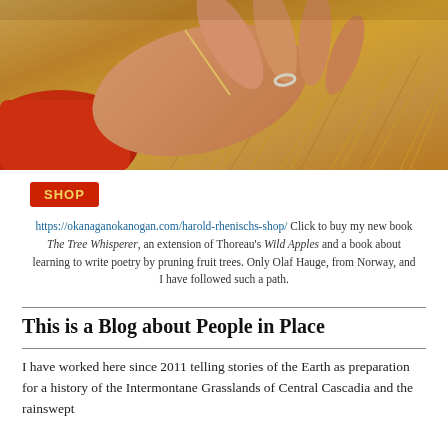[Figure (photo): A hand with a ring extended open-palmed over golden dry grassland, wearing a red fleece sleeve, holding a single strand of grass.]
SHOP
https://okanaganokanogan.com/harold-rhenischs-shop/ Click to buy my new book The Tree Whisperer, an extension of Thoreau's Wild Apples and a book about learning to write poetry by pruning fruit trees. Only Olaf Hauge, from Norway, and I have followed such a path.
This is a Blog about People in Place
I have worked here since 2011 telling stories of the Earth as preparation for a history of the Intermontane Grasslands of Central Cascadia and the rainswept